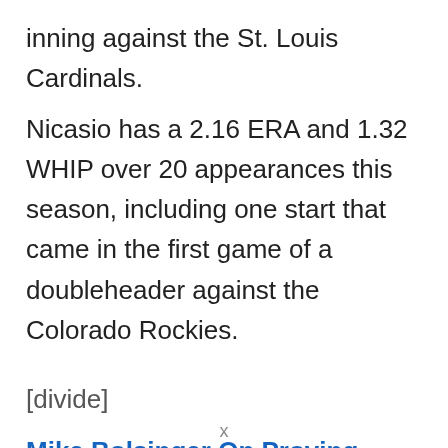inning against the St. Louis Cardinals.
Nicasio has a 2.16 ERA and 1.32 WHIP over 20 appearances this season, including one start that came in the first game of a doubleheader against the Colorado Rockies.
[divide]
Mike Bolsinger On Proving Doubters Wrong